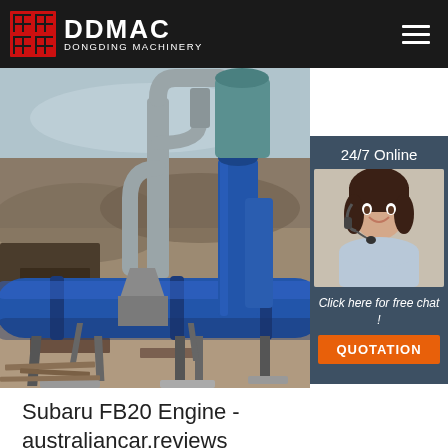DDMAC DONGDING MACHINERY
[Figure (photo): Industrial rotary drum machinery (blue cylindrical dryer/kiln) on a construction site with dust collector equipment, piping, and an arid landscape background. Overlay panel on right shows a female customer service agent wearing a headset with '24/7 Online' text, 'Click here for free chat!' text, and an orange QUOTATION button.]
Subaru FB20 Engine - australiancar.reviews